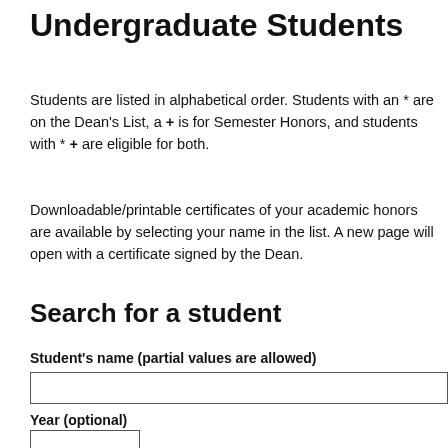Undergraduate Students
Students are listed in alphabetical order. Students with an * are on the Dean's List, a + is for Semester Honors, and students with * + are eligible for both.
Downloadable/printable certificates of your academic honors are available by selecting your name in the list. A new page will open with a certificate signed by the Dean.
Search for a student
Student's name (partial values are allowed)
Year (optional)